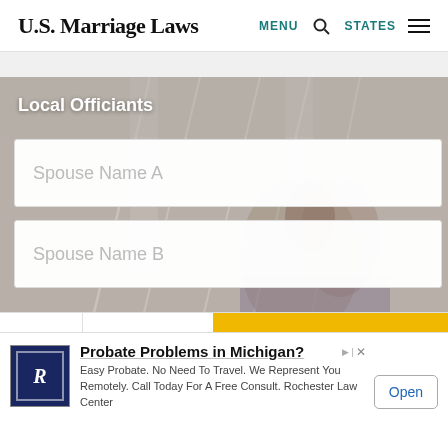U.S. Marriage Laws  MENU  🔍  STATES  ≡
[Figure (screenshot): Website screenshot showing U.S. Marriage Laws site with Local Officiants hero section, two spouse name input fields, a dropdown and Go button, and an advertisement banner at the bottom for Probate Problems in Michigan - Rochester Law Center.]
Local Officiants
Spouse Name A
Spouse Name B
Nationwide
Go
Probate Problems in Michigan?
Easy Probate. No Need To Travel. We Represent You Remotely. Call Today For A Free Consult. Rochester Law Center
Open